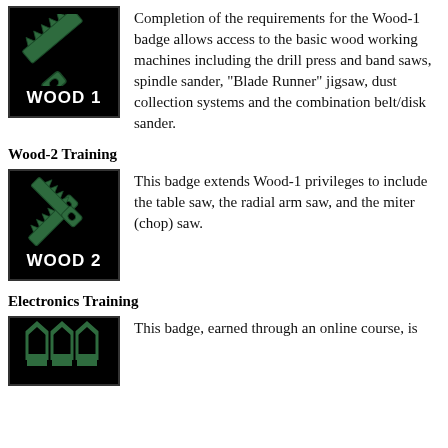[Figure (illustration): WOOD 1 badge with a saw icon on black background]
Completion of the requirements for the Wood-1 badge allows access to the basic wood working machines including the drill press and band saws, spindle sander, "Blade Runner" jigsaw, dust collection systems and the combination belt/disk sander.
Wood-2 Training
[Figure (illustration): WOOD 2 badge with two crossed saws icon on black background]
This badge extends Wood-1 privileges to include the table saw, the radial arm saw, and the miter (chop) saw.
Electronics Training
[Figure (illustration): Electronics badge partially visible at bottom]
This badge, earned through an online course, is